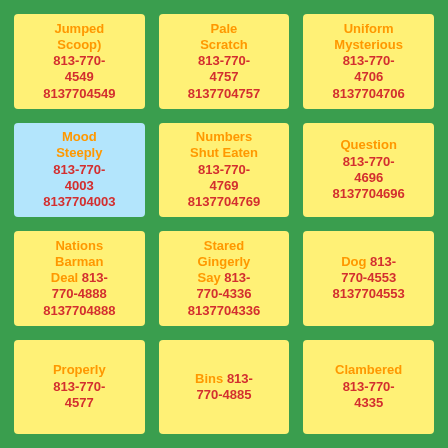Jumped Scoop) 813-770-4549 8137704549
Pale Scratch 813-770-4757 8137704757
Uniform Mysterious 813-770-4706 8137704706
Mood Steeply 813-770-4003 8137704003
Numbers Shut Eaten 813-770-4769 8137704769
Question 813-770-4696 8137704696
Nations Barman Deal 813-770-4888 8137704888
Stared Gingerly Say 813-770-4336 8137704336
Dog 813-770-4553 8137704553
Properly 813-770-4577
Bins 813-770-4885
Clambered 813-770-4335